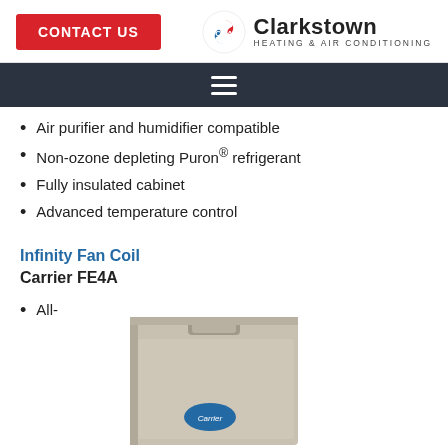CONTACT US | Clarkstown Heating & Air Conditioning
Air purifier and humidifier compatible
Non-ozone depleting Puron® refrigerant
Fully insulated cabinet
Advanced temperature control
Infinity Fan Coil
Carrier FE4A
All-
[Figure (photo): Carrier FE4A fan coil unit, a beige/silver rectangular cabinet HVAC unit with the Carrier logo badge on the front lower section.]